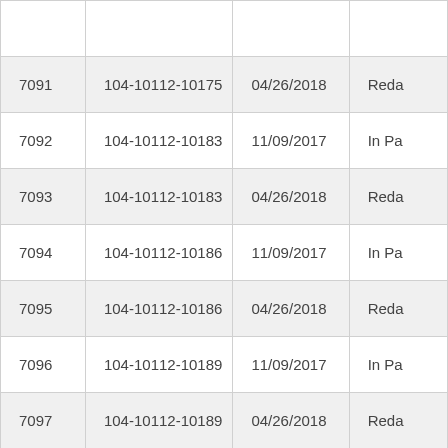| 7091 | 104-10112-10175 | 04/26/2018 | Reda |
| 7092 | 104-10112-10183 | 11/09/2017 | In Pa |
| 7093 | 104-10112-10183 | 04/26/2018 | Reda |
| 7094 | 104-10112-10186 | 11/09/2017 | In Pa |
| 7095 | 104-10112-10186 | 04/26/2018 | Reda |
| 7096 | 104-10112-10189 | 11/09/2017 | In Pa |
| 7097 | 104-10112-10189 | 04/26/2018 | Reda |
| 7098 | 104-10112-10201 | 11/09/2017 | In Pa |